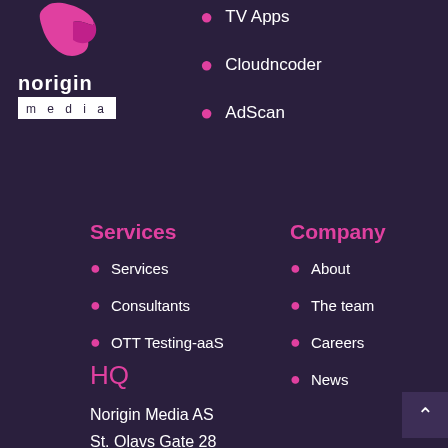[Figure (logo): Norigin Media logo with pink bird/flame icon above text 'norigin' and 'media' in a white box]
TV Apps
Cloudncoder
AdScan
Services
Services
Consultants
OTT Testing-aaS
Company
About
The team
Careers
News
HQ
Norigin Media AS
St. Olavs Gate 28
0166 Oslo, Norway